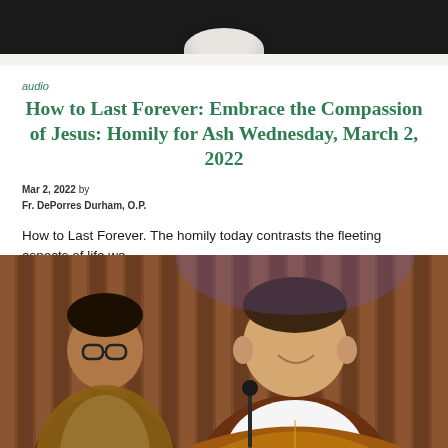navigation bar with search and menu icons
[Figure (photo): Partial view of a round white object against a grey/beige background, visible at top of page below nav bar]
audio
How to Last Forever: Embrace the Compassion of Jesus: Homily for Ash Wednesday, March 2, 2022
Mar 2, 2022 by
Fr. DePorres Durham, O.P.
How to Last Forever. The homily today contrasts the fleeting aspects of life we...
[Figure (photo): Two priests in ornate vestments standing at a church setting with wooden slat background. The priest on the right is smiling and speaking at a microphone. A second priest with glasses is partially visible on the left.]